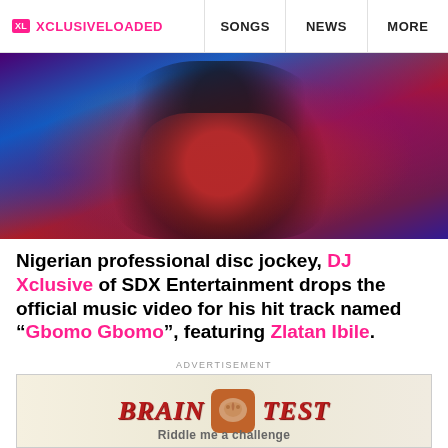XL XCLUSIVELOADED | SONGS | NEWS | MORE
[Figure (photo): Hero image of a person (DJ Xclusive) in a red shirt under colorful purple and blue lighting, appearing to be in a DJ or performance setting]
Nigerian professional disc jockey, DJ Xclusive of SDX Entertainment drops the official music video for his hit track named “Gbomo Gbomo”, featuring Zlatan Ibile.
ADVERTISEMENT
[Figure (photo): Advertisement banner for Brain Test app showing stylized text BRAIN TEST with a brain icon]